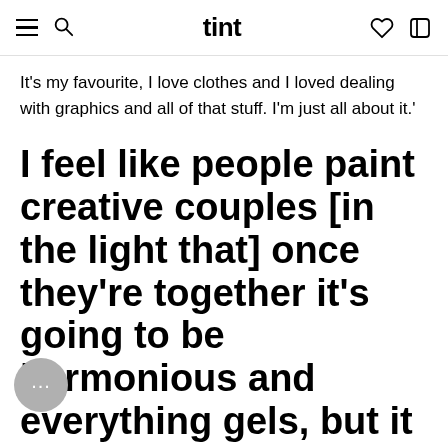tint
It’s my favourite, I love clothes and I loved dealing with graphics and all of that stuff. I’m just all about it.’
I feel like people paint creative couples [in the light that] once they’re together it’s going to be harmonious and everything gels, but it can be a lot more